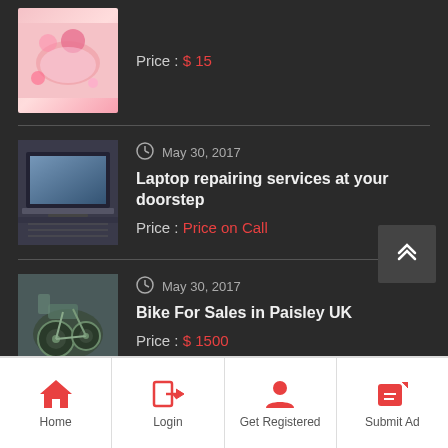Price : $ 15
[Figure (photo): Laptop open on a wooden surface showing a webpage]
May 30, 2017
Laptop repairing services at your doorstep
Price : Price on Call
[Figure (photo): Bike engine or mechanical parts close-up]
May 30, 2017
Bike For Sales in Paisley UK
Price : $ 1500
PREMIUM ADS
Home
Login
Get Registered
Submit Ad